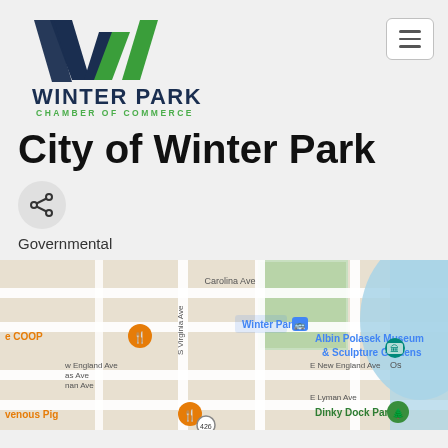[Figure (logo): Winter Park Chamber of Commerce logo — stylized W in navy and green with text WINTER PARK and CHAMBER OF COMMERCE below]
City of Winter Park
[Figure (other): Share icon button (network/share symbol) inside a light gray circle]
Governmental
[Figure (map): Google Maps screenshot showing Winter Park area with streets including Carolina Ave, S Virginia Ave, E New England Ave, E Lyman Ave. Landmarks include Winter Park train station, Albin Polasek Museum & Sculpture Gardens, Dinky Dock Park, e COOP restaurant, venomous Pig restaurant. Lake visible on right side.]